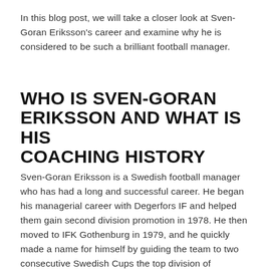In this blog post, we will take a closer look at Sven-Goran Eriksson's career and examine why he is considered to be such a brilliant football manager.
WHO IS SVEN-GORAN ERIKSSON AND WHAT IS HIS COACHING HISTORY
Sven-Goran Eriksson is a Swedish football manager who has had a long and successful career. He began his managerial career with Degerfors IF and helped them gain second division promotion in 1978. He then moved to IFK Gothenburg in 1979, and he quickly made a name for himself by guiding the team to two consecutive Swedish Cups the top division of Swedish League. He also won the UEF Cup in 1982. From there, he went on to manage some other teams in Sweden, Portugal, Italy and...